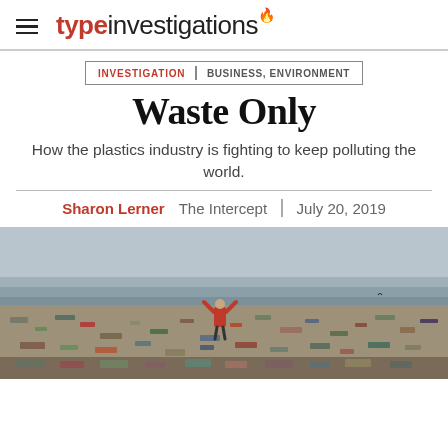typeinvestigations
INVESTIGATION | BUSINESS, ENVIRONMENT
Waste Only
How the plastics industry is fighting to keep polluting the world.
Sharon Lerner   The Intercept   July 20, 2019
[Figure (photo): A person in a red jacket stands arms raised on a beach covered in plastic waste and garbage, with grey water and sky in the background.]